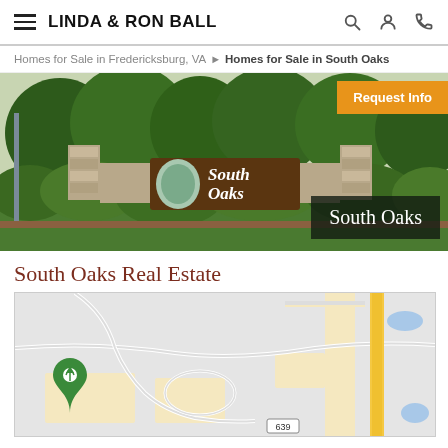LINDA & RON BALL
Homes for Sale in Fredericksburg, VA > Homes for Sale in South Oaks
[Figure (photo): Entrance sign for South Oaks neighborhood with stone pillars and landscaping. Overlay text: South Oaks. Orange button: Request Info.]
South Oaks Real Estate
[Figure (map): Google-style map showing South Oaks neighborhood area near Fredericksburg VA with road 639 labeled and a green location pin marker.]